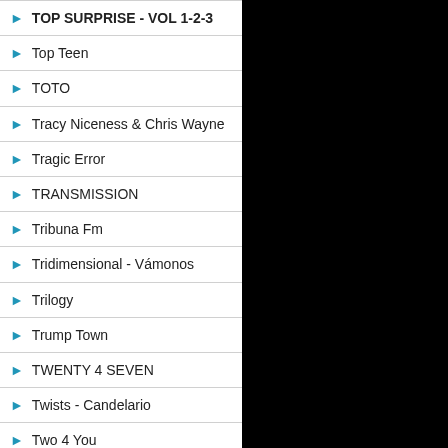TOP SURPRISE - VOL 1-2-3
Top Teen
TOTO
Tracy Niceness & Chris Wayne
Tragic Error
TRANSMISSION
Tribuna Fm
Tridimensional - Vámonos
Trilogy
Trump Town
TWENTY 4 SEVEN
Twists - Candelario
Two 4 You
Two Boys
Tydoz DJ Marcelinho - Batidas & Efeitos Vol.1